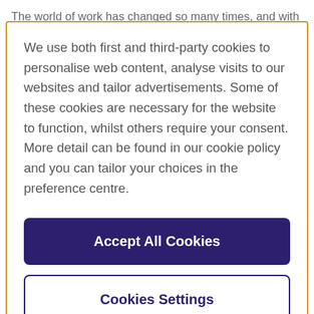The world of work has changed so many times, and with
We use both first and third-party cookies to personalise web content, analyse visits to our websites and tailor advertisements. Some of these cookies are necessary for the website to function, whilst others require your consent. More detail can be found in our cookie policy and you can tailor your choices in the preference centre.
Accept All Cookies
Cookies Settings